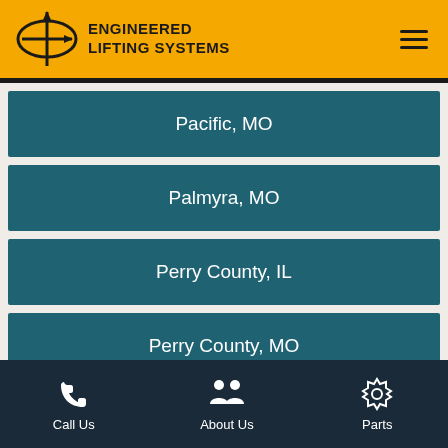ENGINEERED LIFTING SYSTEMS
Pacific, MO
Palmyra, MO
Perry County, IL
Perry County, MO
Call Us | About Us | Parts